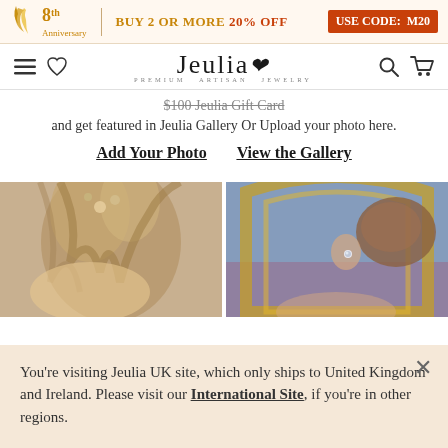8th Anniversary | BUY 2 OR MORE 20% OFF USE CODE: M20
Jeulia PREMIUM ARTISAN JEWELRY
$100 Jeulia Gift Card and get featured in Jeulia Gallery Or Upload your photo here.
Add Your Photo   View the Gallery
[Figure (photo): Photo of woman with floral hair accessories, cropped view of face and hair]
[Figure (photo): Photo of woman with stud earring, viewed from behind near ornate golden arch frame]
You're visiting Jeulia UK site, which only ships to United Kingdom and Ireland. Please visit our International Site, if you're in other regions.